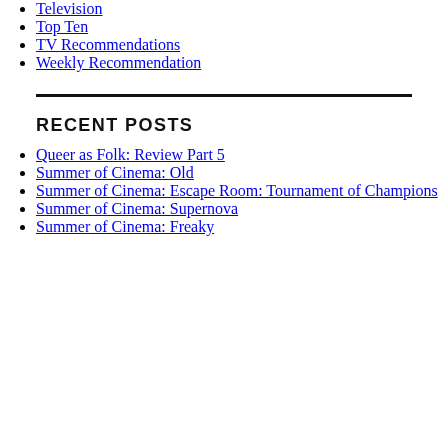Television
Top Ten
TV Recommendations
Weekly Recommendation
RECENT POSTS
Queer as Folk: Review Part 5
Summer of Cinema: Old
Summer of Cinema: Escape Room: Tournament of Champions
Summer of Cinema: Supernova
Summer of Cinema: Freaky